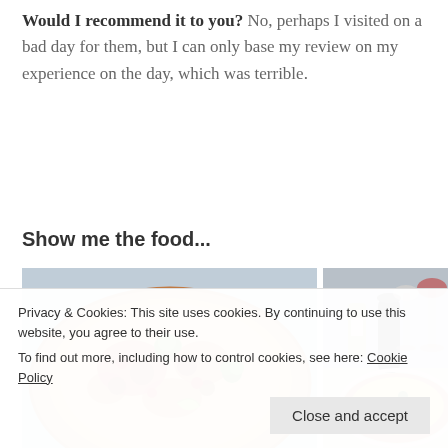Would I recommend it to you? No, perhaps I visited on a bad day for them, but I can only base my review on my experience on the day, which was terrible.
Show me the food...
[Figure (photo): Two food photos side by side: left shows a pizza with toppings including broccoli, cherry tomatoes, and a lime wedge on a light blue surface; right shows a pizza with toppings, lime wedge, with wine glasses and condiments in the background.]
Privacy & Cookies: This site uses cookies. By continuing to use this website, you agree to their use.
To find out more, including how to control cookies, see here: Cookie Policy